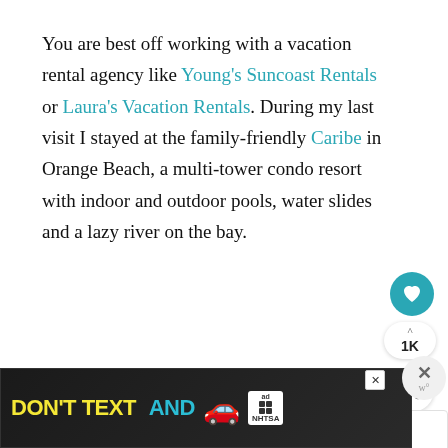You are best off working with a vacation rental agency like Young's Suncoast Rentals or Laura's Vacation Rentals. During my last visit I stayed at the family-friendly Caribe in Orange Beach, a multi-tower condo resort with indoor and outdoor pools, water slides and a lazy river on the bay.
[Figure (other): Social media UI widgets: a teal heart/like button circle, a count showing 1K, and a share button circle with share icon]
[Figure (other): What's Next card with beach thumbnail image, label 'WHAT'S NEXT →' and text '10 Best Things to do...']
[Figure (other): Advertisement banner: DON'T TEXT AND [car emoji] with ad badge and NHTSA logo on dark background]